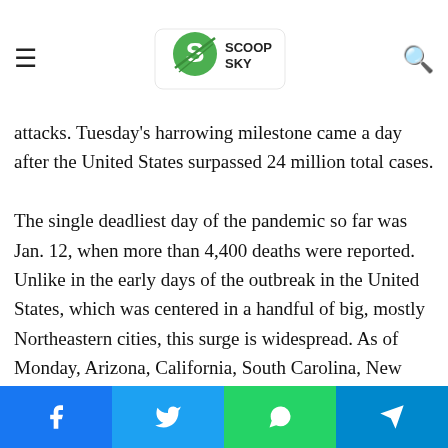Scoop Sky
through the fall and into the winter, exploding to record levels during some weeks this month, the average deaths per day exceeded 3,300, more than the number of people killed in the Sept. 11 terrorist attacks. Tuesday's harrowing milestone came a day after the United States surpassed 24 million total cases.

The single deadliest day of the pandemic so far was Jan. 12, when more than 4,400 deaths were reported. Unlike in the early days of the outbreak in the United States, which was centered in a handful of big, mostly Northeastern cities, this surge is widespread. As of Monday, Arizona, California, South Carolina, New York and Oklahoma had reported the most new cases per capita over the previous week. Much of the latest surge has been attributed to people gathering over the holidays, from Thanksgiving to New Year's Eve.
Social share buttons: Facebook, Twitter, WhatsApp, Telegram